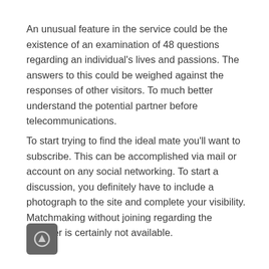An unusual feature in the service could be the existence of an examination of 48 questions regarding an individual's lives and passions. The answers to this could be weighed against the responses of other visitors. To much better understand the potential partner before telecommunications.
To start trying to find the ideal mate you'll want to subscribe. This can be accomplished via mail or account on any social networking. To start a discussion, you definitely have to include a photograph to the site and complete your visibility. Matchmaking without joining regarding the provider is certainly not available.